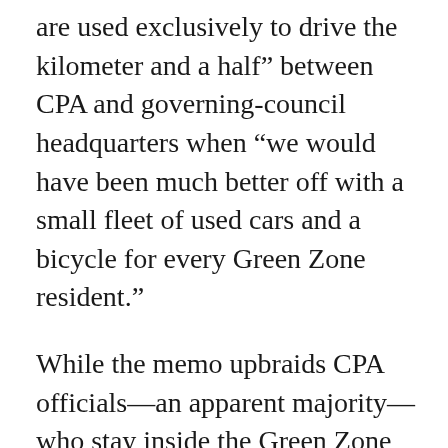are used exclusively to drive the kilometer and a half” between CPA and governing-council headquarters when “we would have been much better off with a small fleet of used cars and a bicycle for every Green Zone resident.”
While the memo upbraids CPA officials—an apparent majority—who stay inside the Green Zone in the name of personal safety, it also maintains that the Green Zone itself is “less than secure,” both for Westerners and Iraqis. According to the